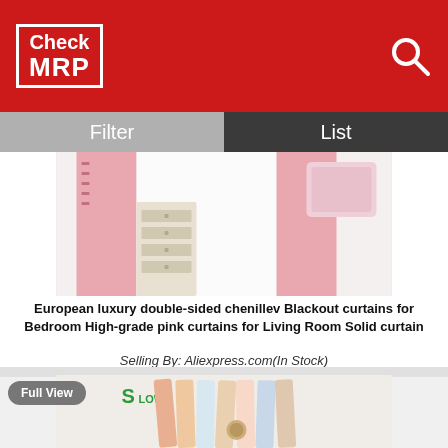Check MRP
Filter | List
[Figure (photo): Product photo of pink chenille blackout curtains for bedroom with sheer white curtain panels and decorative pillow]
Rs. 1013/-
European luxury double-sided chenillev Blackout curtains for Bedroom High-grade pink curtains for Living Room Solid curtain
Selling By: Aliexpress.com(In Stock)
[Figure (photo): Product photo of colorful cartoon-patterned curtains tied back with a decorative deer charm, SLow brand logo visible]
Full View